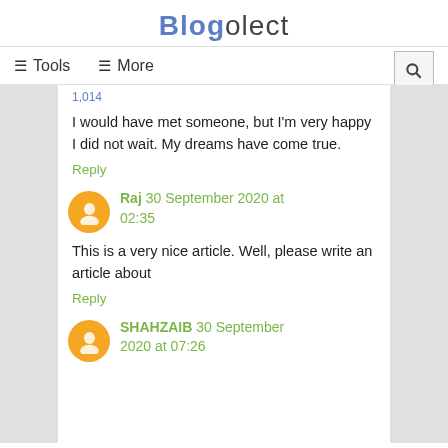Blogolect
≡ Tools   ≡ More
I would have met someone, but I'm very happy I did not wait. My dreams have come true.
Reply
Raj 30 September 2020 at 02:35
This is a very nice article. Well, please write an article about
Reply
SHAHZAIB 30 September 2020 at 07:26